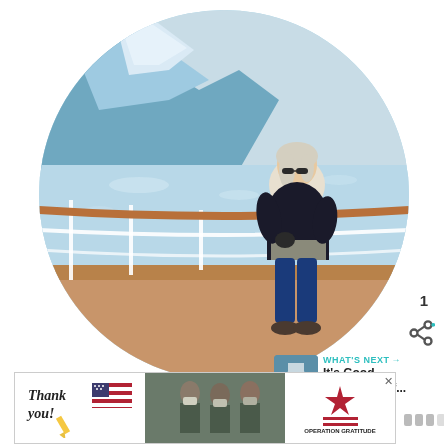[Figure (photo): Circular cropped photo of a woman with white/blonde hair, wearing sunglasses and a black puffer jacket with blue pants, standing on a cruise ship deck railing. In the background are glaciers and icy blue water.]
[Figure (infographic): Heart/like button (teal circle with white heart icon) showing count of 1, and a share button below it.]
1
[Figure (screenshot): WHAT'S NEXT arrow label in teal, with thumbnail of cruise ship and text 'It's Good News Week f...']
[Figure (photo): Advertisement banner: 'Thank you!' handwritten text with US flag, military personnel image in center, and Operation Gratitude logo on right. Has an X close button.]